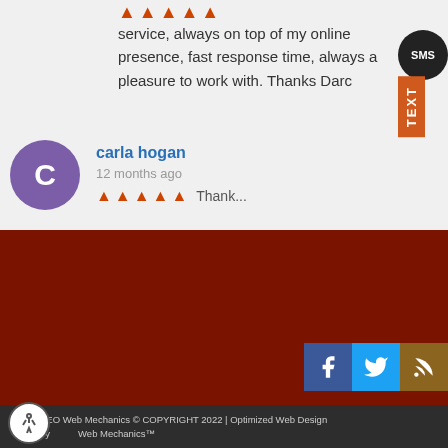service, always on top of my online presence, fast response time, always a pleasure to work with. Thanks Darc
carla hogan
12 months ago
[Figure (screenshot): SMS Text button widget on right side]
[Figure (screenshot): Dark red background section with social media icons (Facebook, Twitter, RSS)]
SEO Web Mechanics © COPYRIGHT 2022 | Optimized Web Design by Web Mechanics™